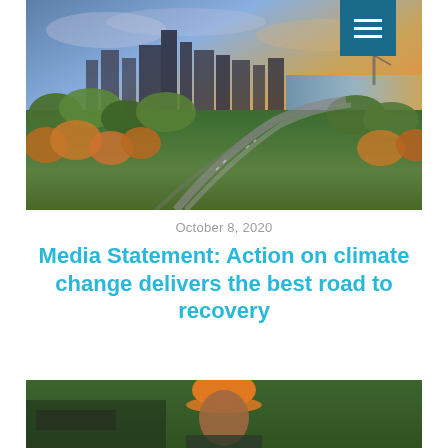[Figure (photo): Aerial view of a city skyline at sunset with highways, trees, and a river. Buildings silhouetted against an orange and golden sky. A hamburger menu icon is overlaid in the top-right corner on a teal background.]
October 8, 2020
Media Statement: Action on climate change delivers the best road to recovery
[Figure (photo): A worker wearing an orange hard hat, partially visible at the bottom of the page.]